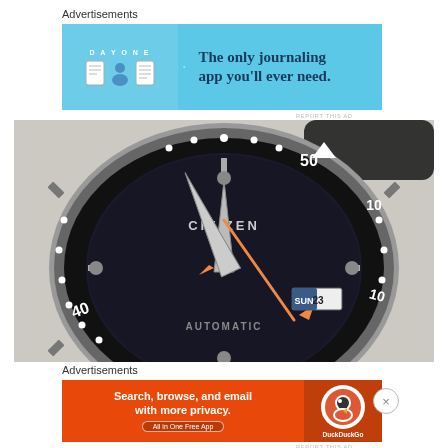Advertisements
[Figure (photo): DayOne journaling app advertisement banner with blue background, app icons, and text 'The only journaling app you'll ever need.']
REPORT THIS AD
[Figure (photo): Close-up photo of a Citizen automatic diver's watch with black bezel showing numbers 10, 40, 50, black dial, orange and silver hands, day-date window showing SUN 23, and AUTOMATIC text at the bottom.]
Advertisements
[Figure (photo): DuckDuckGo advertisement banner with orange background, text 'Search, browse, and email with more privacy. All in One Free App' and DuckDuckGo logo on the right.]
REPORT THIS AD